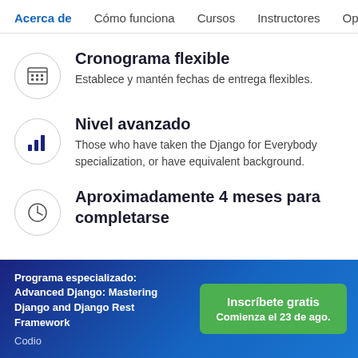Acerca de  Cómo funciona  Cursos  Instructores  Opci
Cronograma flexible
Establece y mantén fechas de entrega flexibles.
Nivel avanzado
Those who have taken the Django for Everybody specialization, or have equivalent background.
Aproximadamente 4 meses para completarse
Programa especializado: Advanced Django: Mastering Django and Django Rest Framework
Codio
Inscríbete gratis
Comienza el 23 de ago.